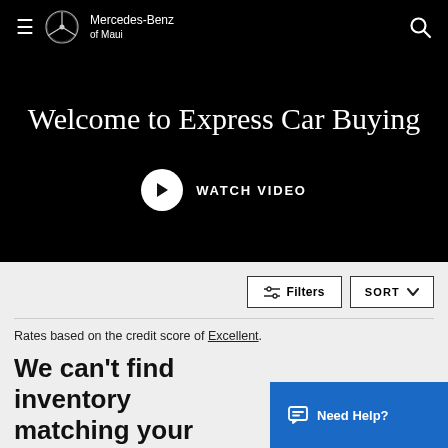Mercedes-Benz of Maui
Welcome to Express Car Buying
WATCH VIDEO
Filters
SORT
Rates based on the credit score of Excellent.
We can't find inventory matching your search.
Need Help?